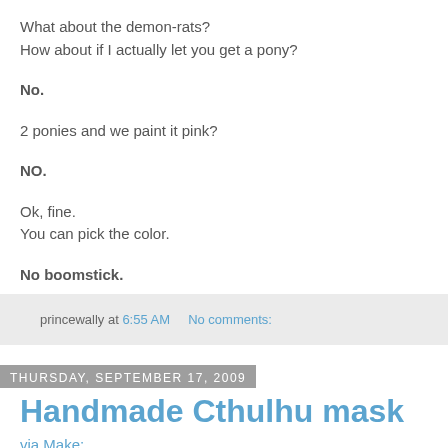What about the demon-rats?
How about if I actually let you get a pony?
No.
2 ponies and we paint it pink?
NO.
Ok, fine.
You can pick the color.
No boomstick.
princewally at 6:55 AM   No comments:
Thursday, September 17, 2009
Handmade Cthulhu mask
via Make: